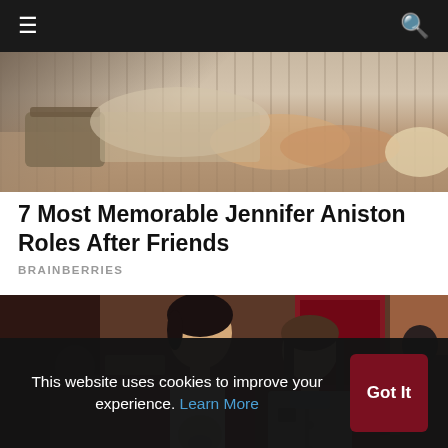[Figure (photo): Top portion of a photo showing a person lying/sitting, legs visible with beige background]
7 Most Memorable Jennifer Aniston Roles After Friends
BRAINBERRIES
[Figure (photo): A young man in a maroon and white raglan t-shirt with a skull graphic and a young woman in a grey cardigan and school uniform standing in front of a red-framed storefront]
This website uses cookies to improve your experience. Learn More